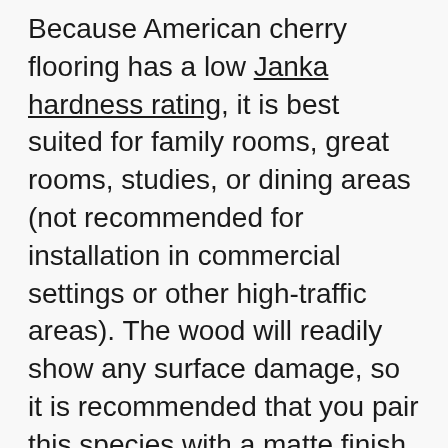Because American cherry flooring has a low Janka hardness rating, it is best suited for family rooms, great rooms, studies, or dining areas (not recommended for installation in commercial settings or other high-traffic areas). The wood will readily show any surface damage, so it is recommended that you pair this species with a matte finish.
Although it has a low hardness rating, American cherry is 17 percent more dimensionally stability than the average wood species, making it a good choice for environments that experience